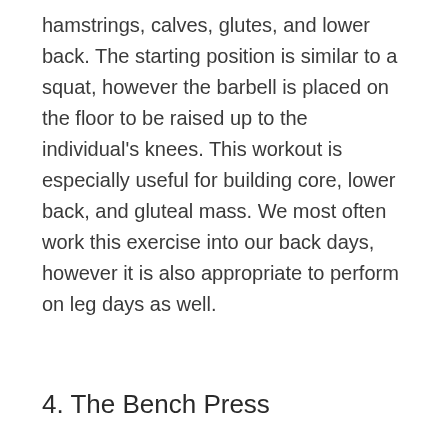hamstrings, calves, glutes, and lower back. The starting position is similar to a squat, however the barbell is placed on the floor to be raised up to the individual's knees. This workout is especially useful for building core, lower back, and gluteal mass. We most often work this exercise into our back days, however it is also appropriate to perform on leg days as well.
4. The Bench Press